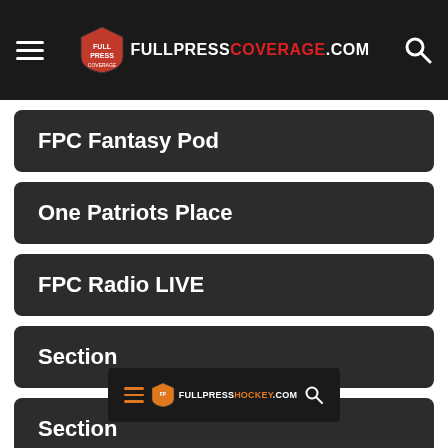FULLPRESSCOVERAGE.COM navigation header with hamburger menu and search icon
FPC Fantasy Pod
One Patriots Place
FPC Radio LIVE
Section
Section
[Figure (screenshot): Full Press Hockey website header/navigation bar with hamburger menu, FULLPRESSHOCKEY.COM logo, and search icon on dark background]